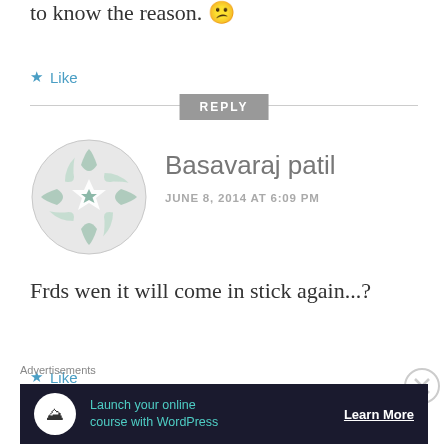to know the reason. 😕
★ Like
REPLY
[Figure (illustration): Round avatar with green/mint decorative star/snowflake pattern on light gray background]
Basavaraj patil
JUNE 8, 2014 AT 6:09 PM
Frds wen it will come in stick again...?
★ Like
Advertisements
Launch your online course with WordPress  Learn More